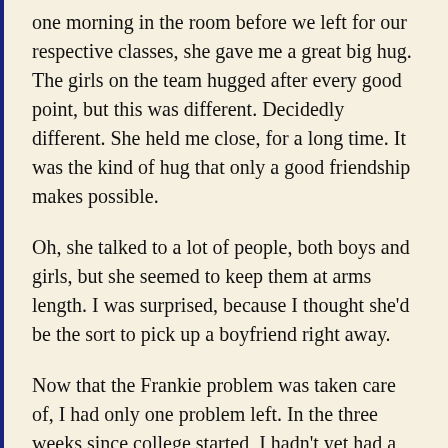one morning in the room before we left for our respective classes, she gave me a great big hug. The girls on the team hugged after every good point, but this was different. Decidedly different. She held me close, for a long time. It was the kind of hug that only a good friendship makes possible.
Oh, she talked to a lot of people, both boys and girls, but she seemed to keep them at arms length. I was surprised, because I thought she'd be the sort to pick up a boyfriend right away.
Now that the Frankie problem was taken care of, I had only one problem left. In the three weeks since college started, I hadn't yet had a good masturbation session. I was left rubbing myself only